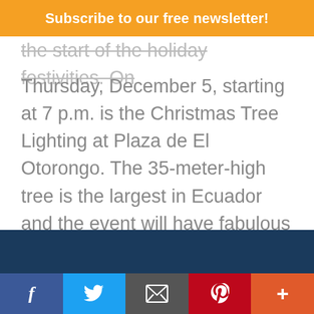Subscribe to our free newsletter!
the start of the holiday festivities. On Thursday, December 5, starting at 7 p.m. is the Christmas Tree Lighting at Plaza de El Otorongo. The 35-meter-high tree is the largest in Ecuador and the event will have fabulous music and draw large crowds of all ages.  Then on Friday, December7, starting at 6:30 p.m. is the Festival of Lights. 8,000 lanterns are placed at Santo Domingo plazaand its surroundings. It's an amazing sight.
Social share bar: Facebook, Twitter, Email, Pinterest, More